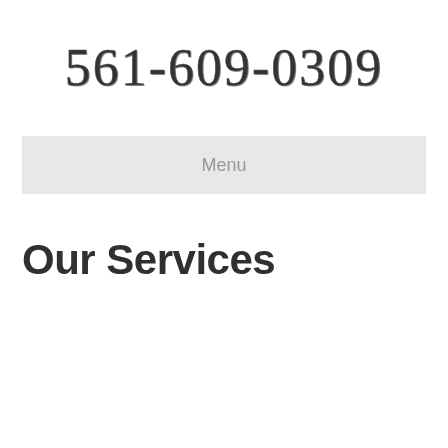561-609-0309
Menu
Our Services